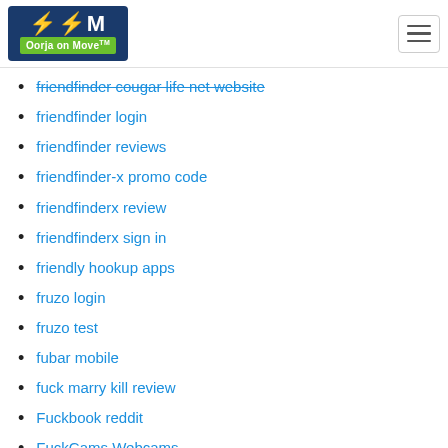Oorja on Move
friendfinder cougar life net website
friendfinder login
friendfinder reviews
friendfinder-x promo code
friendfinderx review
friendfinderx sign in
friendly hookup apps
fruzo login
fruzo test
fubar mobile
fuck marry kill review
Fuckbook reddit
FuckCams Webcams
Fuckr app
Fuckswipe app
furfling hookup hotshot